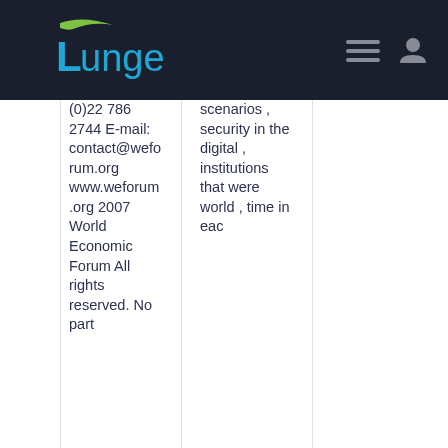Lunge - navigation bar
(0)22 786 2744 E-mail: contact@weforum.org www.weforum.org 2007 World Economic Forum All rights reserved. No part
scenarios , security in the digital , institutions that were world , time in eac